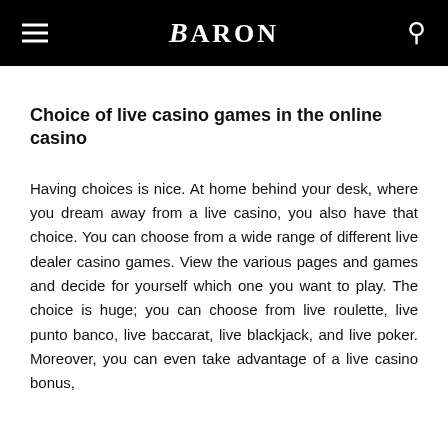BARON
Choice of live casino games in the online casino
Having choices is nice. At home behind your desk, where you dream away from a live casino, you also have that choice. You can choose from a wide range of different live dealer casino games. View the various pages and games and decide for yourself which one you want to play. The choice is huge; you can choose from live roulette, live punto banco, live baccarat, live blackjack, and live poker. Moreover, you can even take advantage of a live casino bonus,